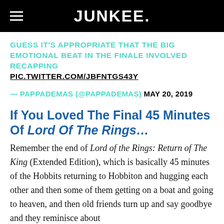JUNKEE.
GUESS IT'S APPROPRIATE THAT THE BIG EMOTIONAL BEAT IN THE FINALE INVOLVED RECAPPING PIC.TWITTER.COM/JBFNTGS43Y
— PAPPADEMAS (@PAPPADEMAS) MAY 20, 2019
If You Loved The Final 45 Minutes Of Lord Of The Rings…
Remember the end of Lord of the Rings: Return of The King (Extended Edition), which is basically 45 minutes of the Hobbits returning to Hobbiton and hugging each other and then some of them getting on a boat and going to heaven, and then old friends turn up and say goodbye and they reminisce about